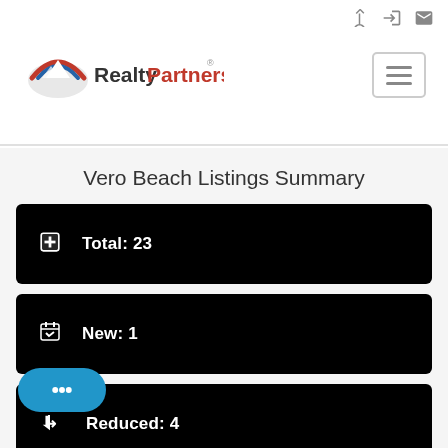[Figure (logo): RealtyPartners logo with mountain/arch icon in red/blue and text 'RealtyPartners' with registered trademark symbol]
Vero Beach Listings Summary
Total: 23
New: 1
Reduced: 4
Open House: 0